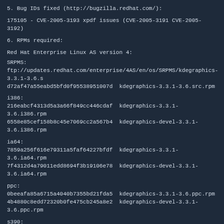5. Bug IDs fixed (http://bugzilla.redhat.com/):
175105 - CVE-2005-3193 xpdf issues (CVE-2005-3191 CVE-2005-3192)
6. RPMs required:
Red Hat Enterprise Linux AS version 4:
SRPMS:
ftp://updates.redhat.com/enterprise/4AS/en/os/SRPMS/kdegraphics-3.3.1-3.6.s
d72af47a55eabd5bfd0f95538951007d  kdegraphics-3.3.1-3.6.src.rpm
i386:
216eabcf4313d5a3a66f849cc446cdaf  kdegraphics-3.3.1-3.6.i386.rpm
6558e85cef158b8c45e7069cc2a567b4  kdegraphics-devel-3.3.1-3.6.i386.rpm
ia64:
7859a256f616e79311a5faf64227bfdf  kdegraphics-3.3.1-3.6.ia64.rpm
7f4312d4a79011edd8694f3b19106e78  kdegraphics-devel-3.3.1-3.6.ia64.rpm
ppc:
0beeafa85a6715a4040b7355bd21fda5  kdegraphics-3.3.1-3.6.ppc.rpm
4b4880c8edd72320b0fe475cb245a8e2  kdegraphics-devel-3.3.1-3.6.ppc.rpm
s390:
64bfbe394e5988987ab7d1784361e39a  kdegraphics-3.3.1-3.6.s390.rpm
557cc641cf9c85e0dc44335b747e8970  kdegraphics-devel-3.3.1-3.6.s390.rpm
s390x:
cf7f965ab80723da2775442c931590d8  kdegraphics-3.3.1-3.6.s390x.rpm
b475339a5a98ddda8abf6f1b3838b5c0  kdegraphics-devel-3.3.1-3.6.s390x.rpm